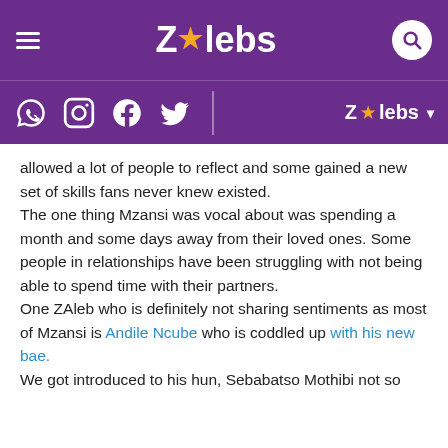ZAlebs
allowed a lot of people to reflect and some gained a new set of skills fans never knew existed.
The one thing Mzansi was vocal about was spending a month and some days away from their loved ones. Some people in relationships have been struggling with not being able to spend time with their partners.
One ZAleb who is definitely not sharing sentiments as most of Mzansi is Andile Ncube who is coddled up with his new bae.
We got introduced to his hun, Sebabatso Mothibi not so